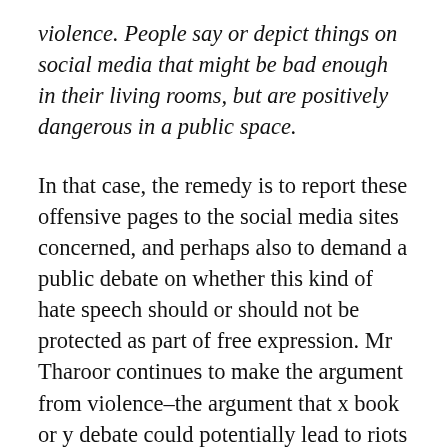violence. People say or depict things on social media that might be bad enough in their living rooms, but are positively dangerous in a public space.
In that case, the remedy is to report these offensive pages to the social media sites concerned, and perhaps also to demand a public debate on whether this kind of hate speech should or should not be protected as part of free expression. Mr Tharoor continues to make the argument from violence–the argument that x book or y debate could potentially lead to riots or